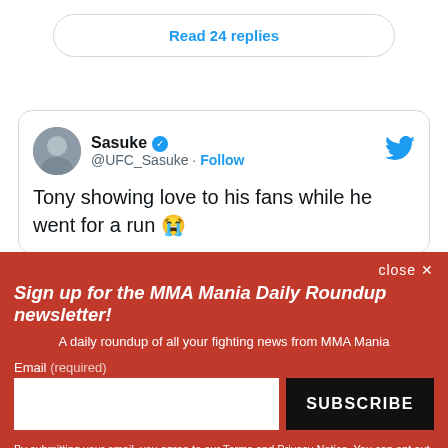Read 24 replies
Sasuke @UFC_Sasuke · Follow
Tony showing love to his fans while he went for a run 😭
close ✕
Sign up for the MMA Mania Daily Roundup newsletter!
A daily roundup of all your fighting news from MMA Mania
Email (required)
SUBSCRIBE
By submitting your email, you agree to our Terms and Privacy Notice. You can opt out at any time. This site is protected by reCAPTCHA and the Google Privacy Policy and Terms of Service apply.